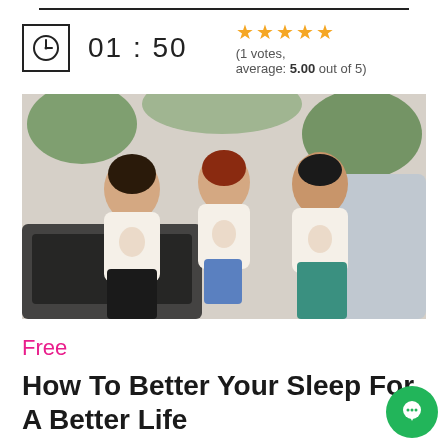01 : 50
(1 votes, average: 5.00 out of 5)
[Figure (photo): Three young people sitting together smiling, all wearing matching white t-shirts with a cartoon character print. There are plants in the background.]
Free
How To Better Your Sleep For A Better Life